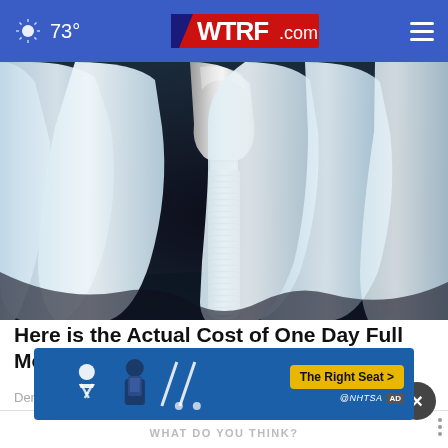73° WTRF.com
[Figure (illustration): 3D medical illustration of dental implant with titanium screw between white teeth on dark background]
Here is the Actual Cost of One Day Full Mouth Dental Implants.
Dental Implants | Sponsored
[Figure (infographic): NHTSA safety seat belt advertisement banner with The Right Seat button]
WHAT DO YOU THINK?